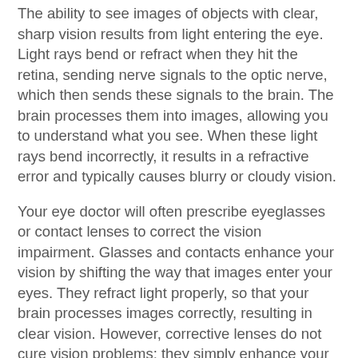The ability to see images of objects with clear, sharp vision results from light entering the eye. Light rays bend or refract when they hit the retina, sending nerve signals to the optic nerve, which then sends these signals to the brain. The brain processes them into images, allowing you to understand what you see. When these light rays bend incorrectly, it results in a refractive error and typically causes blurry or cloudy vision.
Your eye doctor will often prescribe eyeglasses or contact lenses to correct the vision impairment. Glasses and contacts enhance your vision by shifting the way that images enter your eyes. They refract light properly, so that your brain processes images correctly, resulting in clear vision. However, corrective lenses do not cure vision problems; they simply enhance your existing vision.